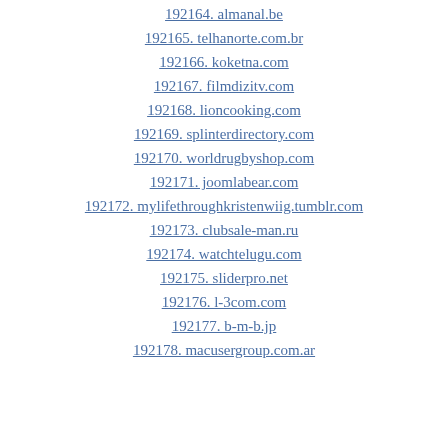192164. almanal.be
192165. telhanorte.com.br
192166. koketna.com
192167. filmdizitv.com
192168. lioncooking.com
192169. splinterdirectory.com
192170. worldrugbyshop.com
192171. joomlabear.com
192172. mylifethroughkristenwiig.tumblr.com
192173. clubsale-man.ru
192174. watchtelugu.com
192175. sliderpro.net
192176. l-3com.com
192177. b-m-b.jp
192178. macusergroup.com.ar